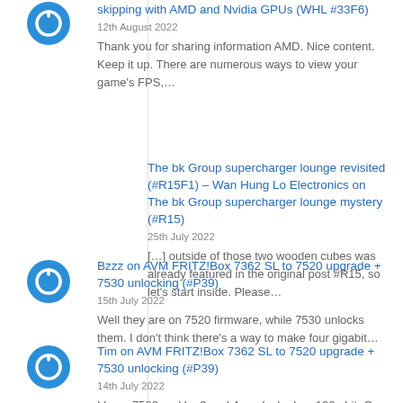skipping with AMD and Nvidia GPUs (WHL #33F6)
12th August 2022
Thank you for sharing information AMD. Nice content. Keep it up. There are numerous ways to view your game's FPS,…
The bk Group supercharger lounge revisited (#R15F1) – Wan Hung Lo Electronics on The bk Group supercharger lounge mystery (#R15)
25th July 2022
[…] outside of those two wooden cubes was already featured in the original post #R15, so let's start inside. Please…
Bzzz on AVM FRITZ!Box 7362 SL to 7520 upgrade + 7530 unlocking (#P39)
15th July 2022
Well they are on 7520 firmware, while 7530 unlocks them. I don't think there's a way to make four gigabit…
Tim on AVM FRITZ!Box 7362 SL to 7520 upgrade + 7530 unlocking (#P39)
14th July 2022
I have 7520 and lan3 and 4 are locked on 100mbit. Can You help me with this? :) thanks